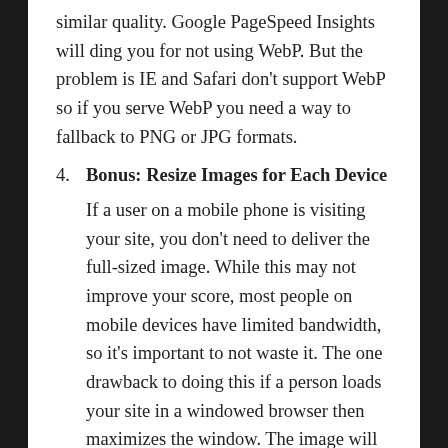similar quality. Google PageSpeed Insights will ding you for not using WebP. But the problem is IE and Safari don't support WebP so if you serve WebP you need a way to fallback to PNG or JPG formats.
4. Bonus: Resize Images for Each Device
If a user on a mobile phone is visiting your site, you don't need to deliver the full-sized image. While this may not improve your score, most people on mobile devices have limited bandwidth, so it's important to not waste it. The one drawback to doing this if a person loads your site in a windowed browser then maximizes the window. The image will be too small. They must refresh to get appropriately sized images. This is an acceptable trade-off for me, but it won't be on